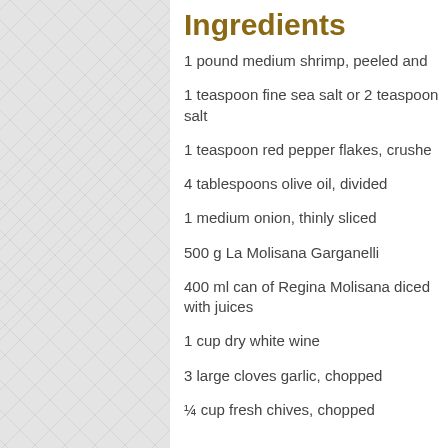Ingredients
1 pound medium shrimp, peeled and
1 teaspoon fine sea salt or 2 teaspoon salt
1 teaspoon red pepper flakes, crushe
4 tablespoons olive oil, divided
1 medium onion, thinly sliced
500 g La Molisana Garganelli
400 ml can of Regina Molisana diced with juices
1 cup dry white wine
3 large cloves garlic, chopped
¼ cup fresh chives, chopped